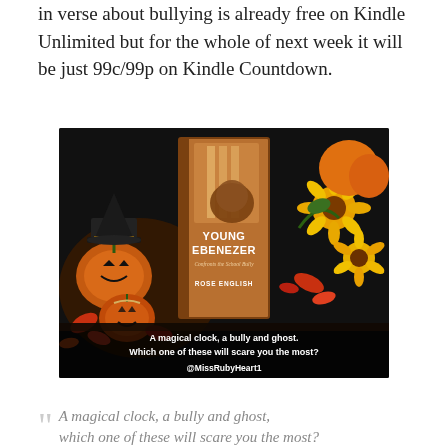in verse about bullying is already free on Kindle Unlimited but for the whole of next week it will be just 99c/99p on Kindle Countdown.
[Figure (photo): Promotional image for 'Young Ebenezer Confronts the School Bully' by Rose English. Shows the book cover placed among Halloween pumpkins (one wearing a witch hat) and autumn sunflowers on a dark background. Text overlay reads: 'A magical clock, a bully and ghost. Which one of these will scare you the most?' and '@MissRubyHeart1'.]
A magical clock, a bully and ghost, which one of these will scare you the most?